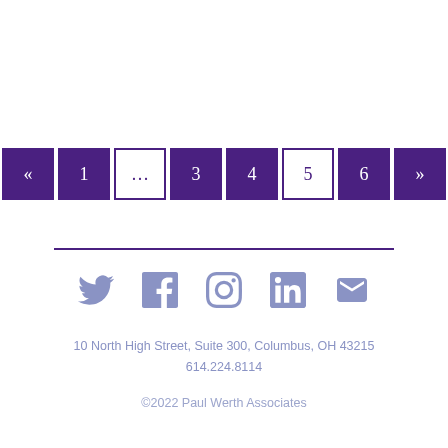[Figure (other): Pagination navigation bar with buttons: «, 1, …, 3, 4, 5 (active/current), 6, »]
[Figure (other): Social media icons in a row: Twitter bird, Facebook f, Instagram camera, LinkedIn in, Email envelope]
10 North High Street, Suite 300, Columbus, OH 43215
614.224.8114
©2022 Paul Werth Associates